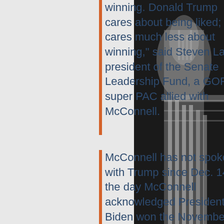winning. Donald Trump cares about being liked; he cares much less about winning," said Steven Law, president of the Senate Leadership Fund, a GOP super PAC allied with McConnell.
McConnell has not spoken with Trump since Dec. 14-- the day McConnell acknowledged President Biden won the November election-- and he does not plan to ever speak with him